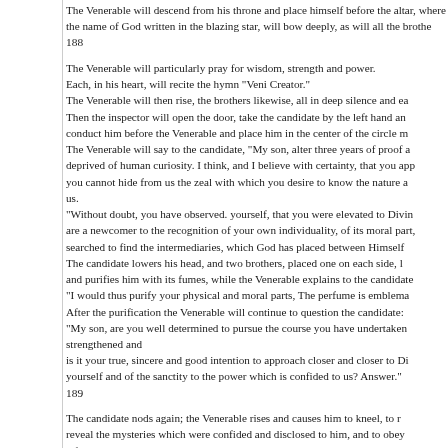The Venerable will descend from his throne and place himself before the altar, where the name of God written in the blazing star, will bow deeply, as will all the brothers.
188
The Venerable will particularly pray for wisdom, strength and power.
Each, in his heart, will recite the hymn "Veni Creator."
The Venerable will then rise, the brothers likewise, all in deep silence and ea
Then the inspector will open the door, take the candidate by the left hand an
conduct him before the Venerable and place him in the center of the circle m
The Venerable will say to the candidate, "My son, alter three years of proof a
deprived of human curiosity. I think, and I believe with certainty, that you app
you cannot hide from us the zeal with which you desire to know the nature a
us.
"Without doubt, you have observed. yourself, that you were elevated to Divin
are a newcomer to the recognition of your own individuality, of its moral part,
searched to find the intermediaries, which God has placed between Himself
The candidate lowers his head, and two brothers, placed one on each side, l
and purifies him with its fumes, while the Venerable explains to the candidate
"I would thus purify your physical and moral parts, The perfume is emblema
After the purification the Venerable will continue to question the candidate:
"My son, are you well determined to pursue the course you have undertaken
strengthened and
is it your true, sincere and good intention to approach closer and closer to Di
yourself and of the sanctity to the power which is confided to us? Answer."
189
The candidate nods again; the Venerable rises and causes him to kneel, to r
reveal the mysteries which were confided and disclosed to him, and to obey
After the obligation, the Venerable will strike him three times on the right sho
"By the power which I hold from the great Founder of our Order, and by the g
Companion, and will make you a guardian of the new knowledge which you
names, Helios, Melios and the Tetragrammaton."
When the Venerable pronounces these names his assistants will kneel and o